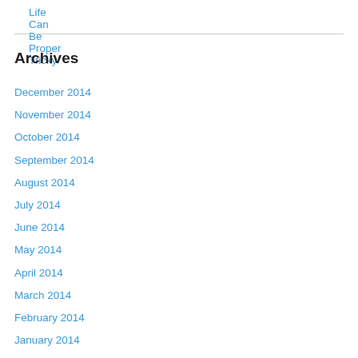Life Can Be Proper Tricky
Archives
December 2014
November 2014
October 2014
September 2014
August 2014
July 2014
June 2014
May 2014
April 2014
March 2014
February 2014
January 2014
December 2013
November 2013
October 2013